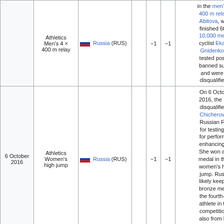| Date | Event | Country | Gold | Silver | Bronze | Notes |
| --- | --- | --- | --- | --- | --- | --- |
|  | Athletics Men's 4 × 400 m relay | Russia (RUS) |  | -1 | -1 | in the men's 400 m relay, Abitova, who finished 6th in 10,000 me... cyclist Eka Gnidenko tested pos... banned su... and were disqualified |
| 6 October 2016 | Athletics Women's high jump | Russia (RUS) |  | -1 | -1 | On 6 October 2016, the I... disqualified Chicherov... Russian F... for testing for perform enhancing... She won a medal in th women's h jump. Rus... likely keep bronze me... the fourth- athlete in t competitio... also from I... [32] |
|  | Weightlifting Men's 85 kg | Belarus (BLR) |  | -1 |  | -1 | On 26 October 2016, the I... disqualified athletes fo... drugs tests... 2008 gam... Amongst t... |
|  | Weightlifting Women's 53 kg | Belarus (BLR) |  |  | -1 | -1 |  |
|  | Weightlifting |  |  |  |  |  |